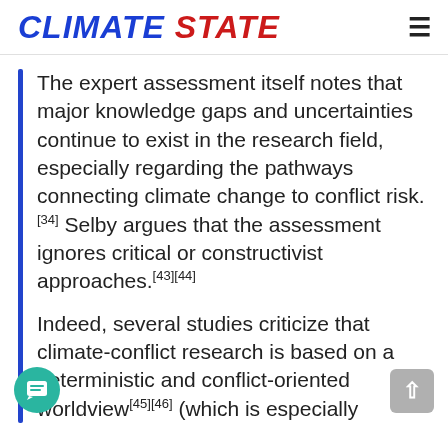CLIMATE STATE
The expert assessment itself notes that major knowledge gaps and uncertainties continue to exist in the research field, especially regarding the pathways connecting climate change to conflict risk.[34] Selby argues that the assessment ignores critical or constructivist approaches.[43][44]
Indeed, several studies criticize that climate-conflict research is based on a deterministic and conflict-oriented worldview[45][46] (which is especially